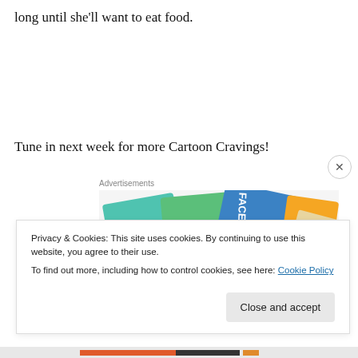long until she'll want to eat food.
Tune in next week for more Cartoon Cravings!
[Figure (photo): Advertisement image showing overlapping card/business card designs with Meta and Facebook logos and colorful geometric shapes]
Privacy & Cookies: This site uses cookies. By continuing to use this website, you agree to their use.
To find out more, including how to control cookies, see here: Cookie Policy
Close and accept